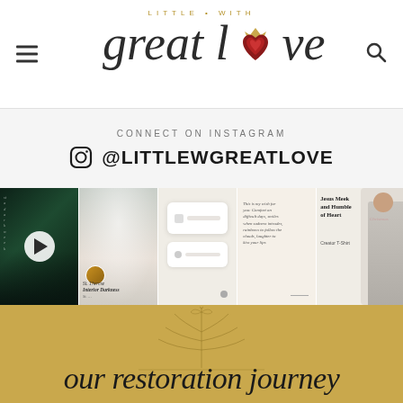[Figure (logo): Little With Great Love logo — script text with heart icon and crown, gold 'LITTLE WITH' text above]
CONNECT ON INSTAGRAM
@LITTLEWGREATLOVE
[Figure (screenshot): Instagram photo strip with 5 posts: dark forest video, misty forest with St. Therese Interior Darkness text, beige phone screen, text quote post, and Jesus Meek and Humble of Heart t-shirt]
[Figure (illustration): Gold/tan background section with 'our restoration journey' in script font and decorative botanical line illustration]